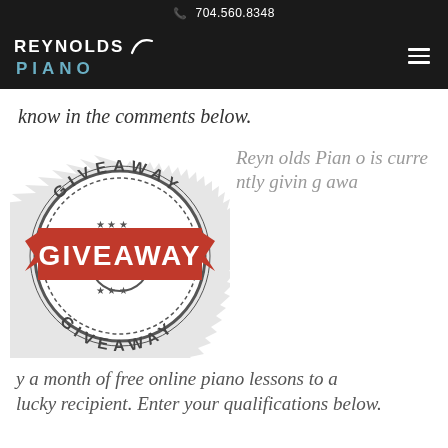704.560.8348
[Figure (logo): Reynolds Piano logo with white text and teal PIANO wordmark on black background]
know in the comments below.
[Figure (illustration): Giveaway stamp graphic with red ribbon banner reading GIVEAWAY and circular stamp text GIVEAWAY repeated]
Reynolds Piano is currently giving away a month of free online piano lessons to a
lucky recipient. Enter your qualifications below.